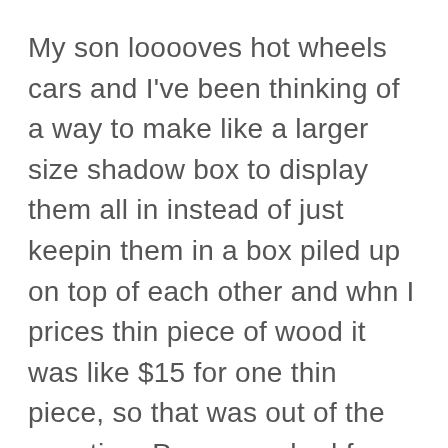My son looooves hot wheels cars and I've been thinking of a way to make like a larger size shadow box to display them all in instead of just keepin them in a box piled up on top of each other and whn I prices thin piece of wood it was like $15 for one thin piece, so that was out of the question. Paper mached foam board or cardboard for that matter would definetely be an idea both affordable and creative enough for both me and